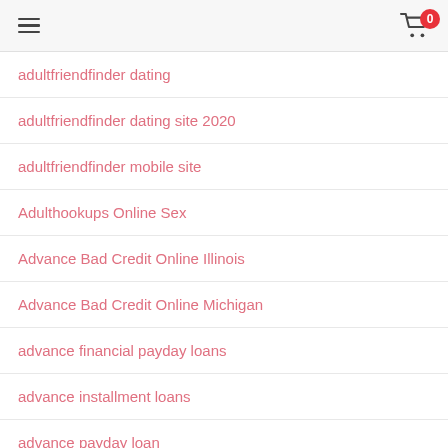☰  [cart icon] 0
adultfriendfinder dating
adultfriendfinder dating site 2020
adultfriendfinder mobile site
Adulthookups Online Sex
Advance Bad Credit Online Illinois
Advance Bad Credit Online Michigan
advance financial payday loans
advance installment loans
advance payday loan
advance payday loans
Advance Payday Loans Online Bristol